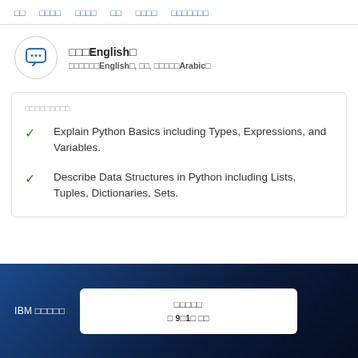□□  □□□□  □□□□  □□  □□□□  □□□□□□□
□□□English□
□□□□□□English□, □□, □□□□□Arabic□
□□□□□□□□□
Explain Python Basics including Types, Expressions, and Variables.
Describe Data Structures in Python including Lists, Tuples, Dictionaries, Sets.
IBM □□□□□  □□□□  □ 9□1□ □□